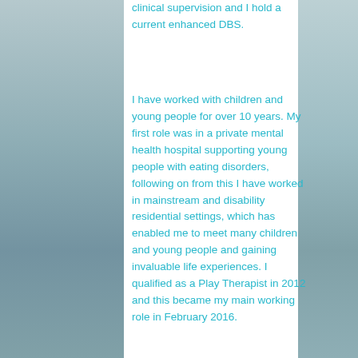clinical supervision and I hold a current enhanced DBS.
I have worked with children and young people for over 10 years. My first role was in a private mental health hospital supporting young people with eating disorders, following on from this I have worked in mainstream and disability residential settings, which has enabled me to meet many children and young people and gaining invaluable life experiences. I qualified as a Play Therapist in 2012 and this became my main working role in February 2016.